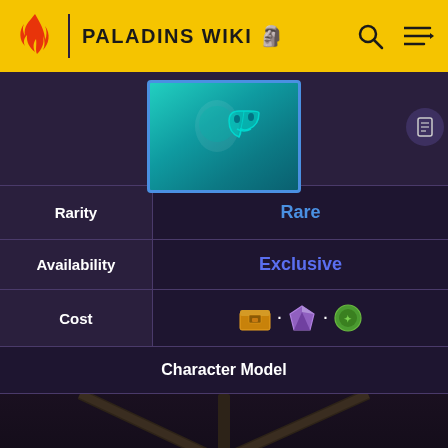PALADINS WIKI
[Figure (screenshot): Paladins skin thumbnail showing a teal/cyan character with a theatrical mask icon, blue border]
| Property | Value |
| --- | --- |
| Rarity | Rare |
| Availability | Exclusive |
| Cost | [chest icon] · [gem icon] · [token icon] |
| Character Model |  |
[Figure (screenshot): Character model 3D render in a dark dungeon/wooden structure environment, dark atmospheric scene]